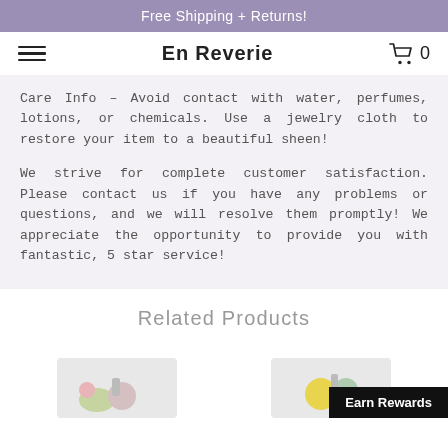Free Shipping + Returns!
En Reverie  0
Care Info - Avoid contact with water, perfumes, lotions, or chemicals. Use a jewelry cloth to restore your item to a beautiful sheen!
We strive for complete customer satisfaction. Please contact us if you have any problems or questions, and we will resolve them promptly! We appreciate the opportunity to provide you with fantastic, 5 star service!
Related Products
[Figure (photo): Two product jewelry charm photos shown side by side, with an Earn Rewards button overlay on the right side.]